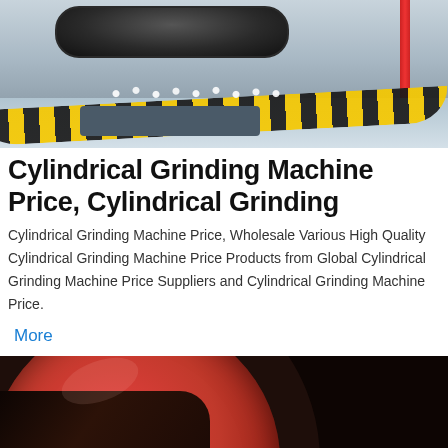[Figure (photo): Industrial cylindrical grinding machine with black roller, yellow and black striped conveyor belt, and white granules/balls on a reflective factory floor]
Cylindrical Grinding Machine Price, Cylindrical Grinding
Cylindrical Grinding Machine Price, Wholesale Various High Quality Cylindrical Grinding Machine Price Products from Global Cylindrical Grinding Machine Price Suppliers and Cylindrical Grinding Machine Price.
More
[Figure (photo): Close-up interior view of a cylindrical grinding mill showing dark outer rim and bright red/orange inner surface]